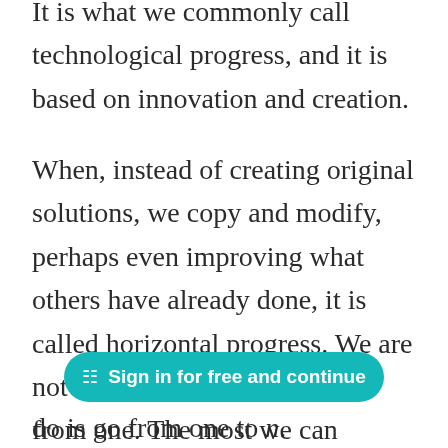It is what we commonly call technological progress, and it is based on innovation and creation.
When, instead of creating original solutions, we copy and modify, perhaps even improving what others have already done, it is called horizontal progress. We are not starting from scratch, but from one. The most we can do is go from one to n.